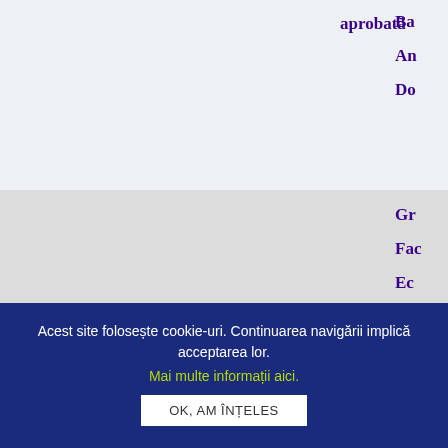| Nume | Prenume | Status | Detalii |
| --- | --- | --- | --- |
|  |  | Candidatură aprobată | Gr... Fac... Ec... Ba... An... Do... |
| De Nardis | Francesca | Candidatură aprobată | Gr... Fac... Ec... Ba... An... Do... |
| Fani | Giulia | Candidatură aprobată | Gr... Fac... Ec... Ba... |
Acest site folosește cookie-uri. Continuarea navigării implică acceptarea lor.
Mai multe informații aici.
OK, AM ÎNȚELES